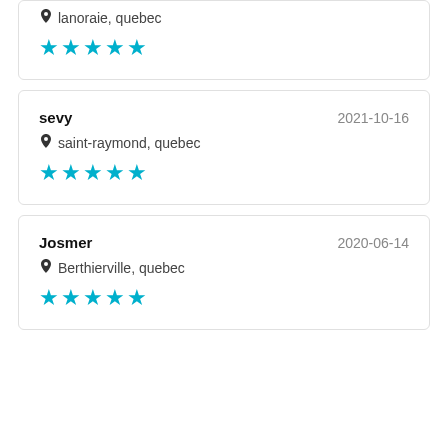lanoraie, quebec
★★★★★
sevy    2021-10-16
saint-raymond, quebec
★★★★★
Josmer    2020-06-14
Berthierville, quebec
★★★★★